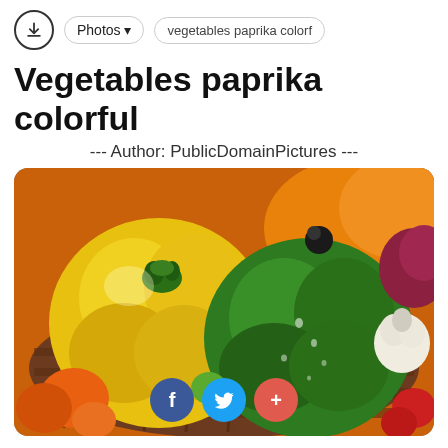Photos ▾  vegetables paprika colorf
Vegetables paprika colorful
--- Author: PublicDomainPictures ---
[Figure (photo): A basket filled with colorful bell peppers — yellow, green, and orange — along with other vegetables including small orange tomatoes, a garlic bulb, and red onion, photographed up close with water droplets visible on the green pepper.]